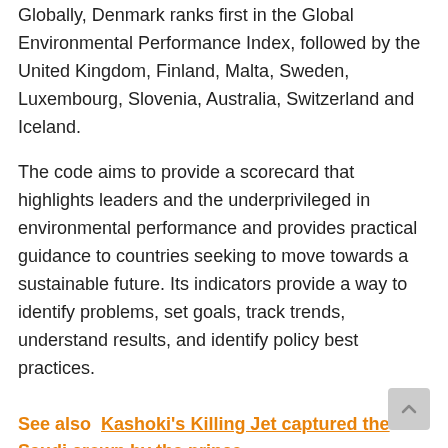Globally, Denmark ranks first in the Global Environmental Performance Index, followed by the United Kingdom, Finland, Malta, Sweden, Luxembourg, Slovenia, Australia, Switzerland and Iceland.
The code aims to provide a scorecard that highlights leaders and the underprivileged in environmental performance and provides practical guidance to countries seeking to move towards a sustainable future. Its indicators provide a way to identify problems, set goals, track trends, understand results, and identify policy best practices.
See also  Kashoki's Killing Jet captured the Saudi crown by the prince
Good data and evidence-based analysis can help government